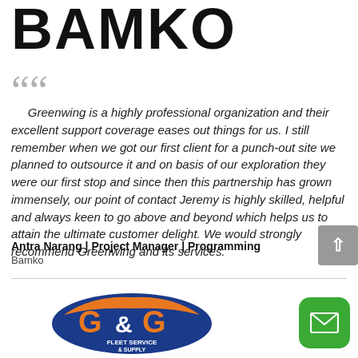BAMKO
Greenwing is a highly professional organization and their excellent support coverage eases out things for us. I still remember when we got our first client for a punch-out site we planned to outsource it and on basis of our exploration they were our first stop and since then this partnership has grown immensely, our point of contact Jeremy is highly skilled, helpful and always keen to go above and beyond which helps us to attain the ultimate customer delight. We would strongly recommend Greenwing and its services.
Antra Narang | Project Manager | Programming
Bamko
[Figure (logo): G&G Fleet Service & Supply logo — orange and blue stylized G&G text with fleet service and supply text below]
[Figure (other): Green rounded square button with white envelope/mail icon]